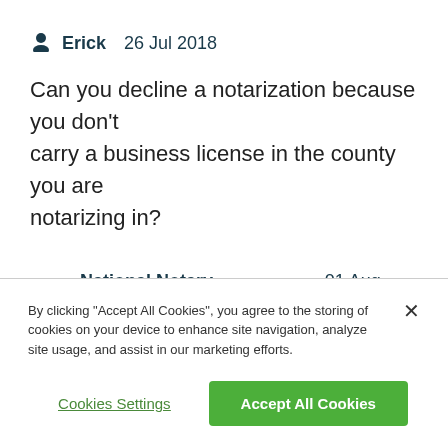Erick   26 Jul 2018
Can you decline a notarization because you don't carry a business license in the county you are notarizing in?
National Notary Association   01 Aug 2018
Hello. To help us answer your question can you
By clicking "Accept All Cookies", you agree to the storing of cookies on your device to enhance site navigation, analyze site usage, and assist in our marketing efforts.
Cookies Settings
Accept All Cookies